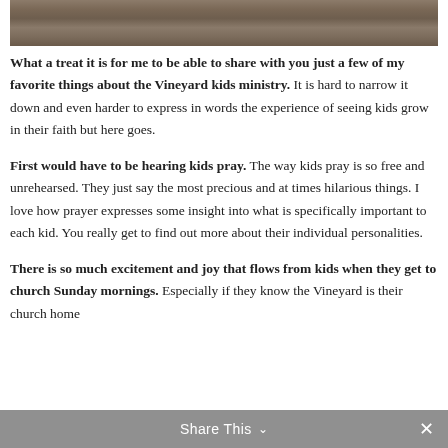[Figure (photo): Top portion of a wooden background/fence texture, dark brown wood grain visible at the top of the page.]
What a treat it is for me to be able to share with you just a few of my favorite things about the Vineyard kids ministry. It is hard to narrow it down and even harder to express in words the experience of seeing kids grow in their faith but here goes.
First would have to be hearing kids pray. The way kids pray is so free and unrehearsed. They just say the most precious and at times hilarious things. I love how prayer expresses some insight into what is specifically important to each kid. You really get to find out more about their individual personalities.
There is so much excitement and joy that flows from kids when they get to church Sunday mornings. Especially if they know the Vineyard is their church home